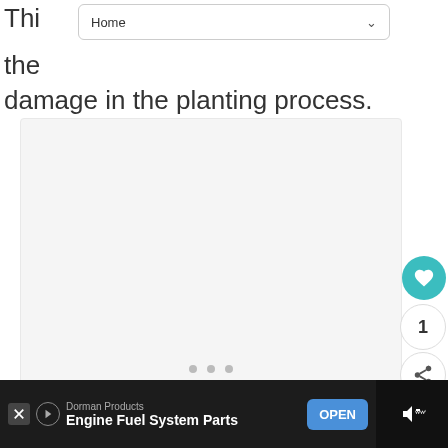Home
damage in the planting process.
[Figure (photo): Placeholder image area with dot navigation indicators showing three dots]
1
WHAT'S NEXT → Growing Potatoes
[Figure (screenshot): Advertisement bar: Dorman Products - Engine Fuel System Parts with OPEN button]